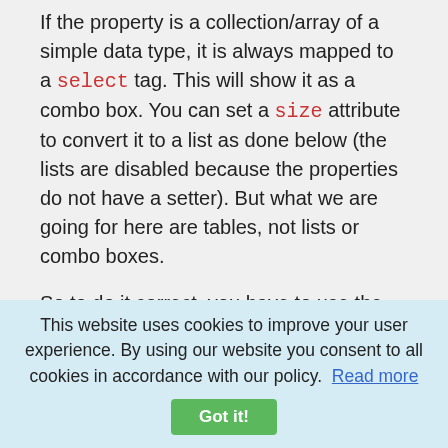If the property is a collection/array of a simple data type, it is always mapped to a select tag. This will show it as a combo box. You can set a size attribute to convert it to a list as done below (the lists are disabled because the properties do not have a setter). But what we are going for here are tables, not lists or combo boxes.
So to do it correct, you have to use the proper types. Arrays and collections for complex data types are by default mapped to tables. The table contains one row for each element of the collection/array. To achieve a detailed visualization of domain objects from a collection, the collection should be typed using Java generics. Otherwise the framework can only display
This website uses cookies to improve your user experience. By using our website you consent to all cookies in accordance with our policy. Read more Got it!